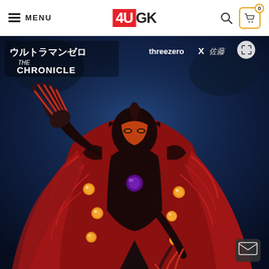MENU | 4UGK | [search icon] [cart: 0]
[Figure (photo): Product photo of an Ultraman Zero The Chronicle villain action figure by threezero x collaboration. The figure is a dark humanoid monster with red tentacle/fur-like cloak, orange eye orbs on the body, purple gem on chest, sharp metallic claws, orange-tipped horns on helmet, and red cape. Posed with one clawed hand raised against a dark blue moody background. Overlaid with Japanese text logo top-left and 'threezero X' branding top-right.]